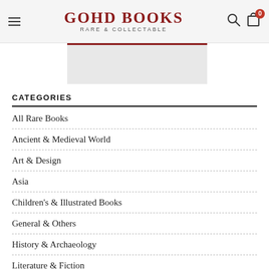GOHD BOOKS RARE & COLLECTABLE
[Figure (screenshot): Partial image placeholder with red top border, gray fill]
CATEGORIES
All Rare Books
Ancient & Medieval World
Art & Design
Asia
Children's & Illustrated Books
General & Others
History & Archaeology
Literature & Fiction
Maps & Prints
Middle East